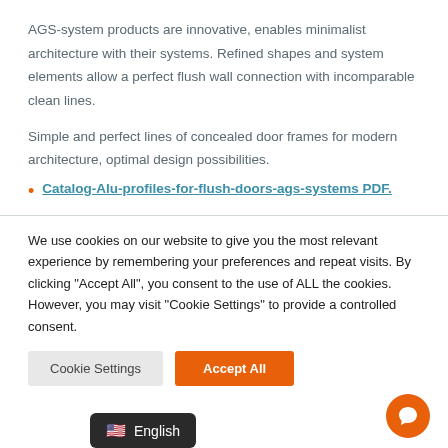AGS-system products are innovative, enables minimalist architecture with their systems. Refined shapes and system elements allow a perfect flush wall connection with incomparable clean lines.
Simple and perfect lines of concealed door frames for modern architecture, optimal design possibilities.
Catalog-Alu-profiles-for-flush-doors-ags-systems PDF.
We use cookies on our website to give you the most relevant experience by remembering your preferences and repeat visits. By clicking “Accept All”, you consent to the use of ALL the cookies. However, you may visit “Cookie Settings” to provide a controlled consent.